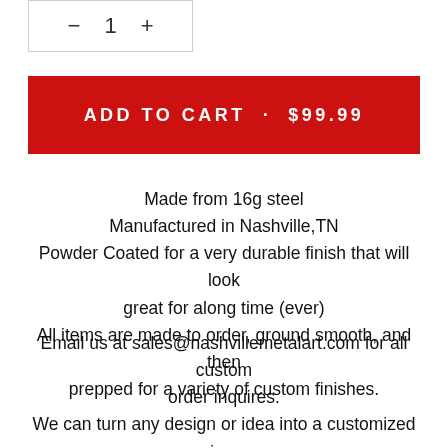[Figure (other): Quantity selector box with minus, 1, plus controls]
ADD TO CART · $99.99
Made from 16g steel
Manufactured in Nashville,TN
Powder Coated for a very durable finish that will look great for along time (ever)
All items are made to order, ground smooth, and then prepped for a variety of custom finishes.
Email us at sales@nashvillemetalart.com for all custom order inquires.
We can turn any design or idea into a customized piece.
Please be aware that due to our volumes of orders processing times may be extended.